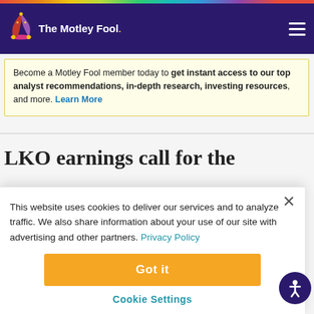The Motley Fool
Become a Motley Fool member today to get instant access to our top analyst recommendations, in-depth research, investing resources, and more. Learn More
LKO earnings call for the
This website uses cookies to deliver our services and to analyze traffic. We also share information about your use of our site with advertising and other partners. Privacy Policy
Got it
Cookie Settings